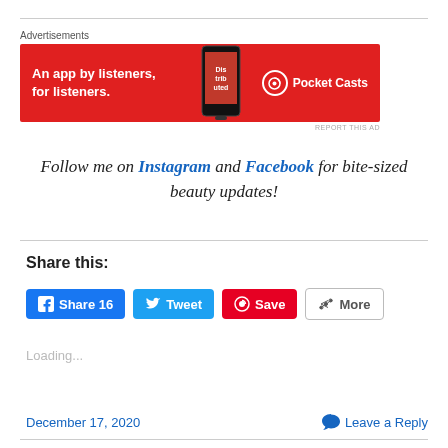[Figure (infographic): Pocket Casts advertisement banner with red background. Text reads: 'An app by listeners, for listeners.' with a smartphone image and Pocket Casts logo.]
Follow me on Instagram and Facebook for bite-sized beauty updates!
Share this:
Share 16  Tweet  Save  More
Loading...
December 17, 2020   Leave a Reply